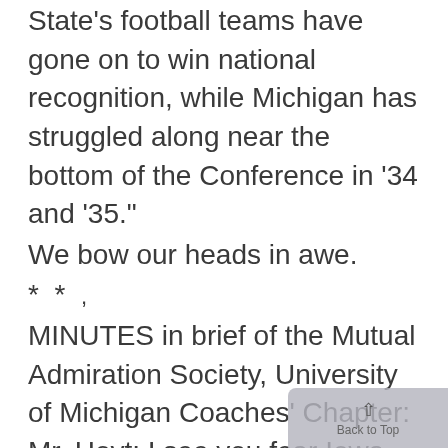State's football teams have gone on to win national recognition, while Michigan has struggled along near the bottom of the Conference in '34 and '35."
We bow our heads in awe.
* *  ,
MINUTES in brief of the Mutual Admiration Society, University of Michigan Coaches' Chapter:
Mr. Hoyt: I see you fear Iowa, Matt. What is it, more bear stuff?
Mr. Mann: There you go. Sitting on top of the heap and trying to